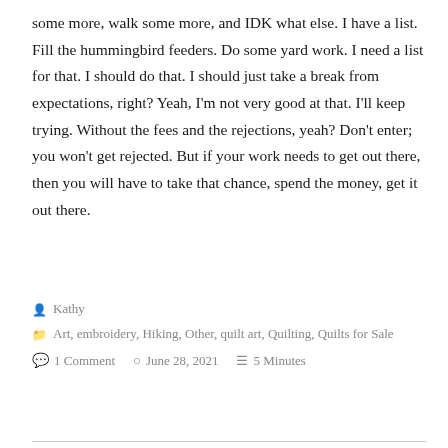some more, walk some more, and IDK what else. I have a list. Fill the hummingbird feeders. Do some yard work. I need a list for that. I should do that. I should just take a break from expectations, right? Yeah, I'm not very good at that. I'll keep trying. Without the fees and the rejections, yeah? Don't enter; you won't get rejected. But if your work needs to get out there, then you will have to take that chance, spend the money, get it out there.
Kathy
Art, embroidery, Hiking, Other, quilt art, Quilting, Quilts for Sale
1 Comment   June 28, 2021   5 Minutes